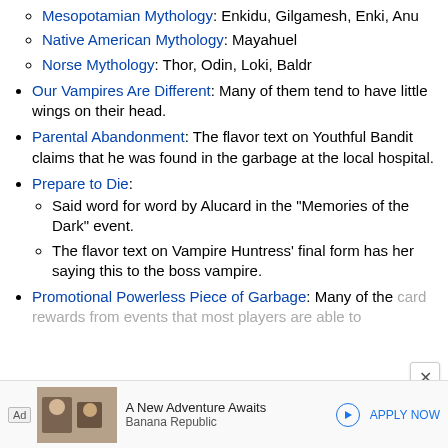Mesopotamian Mythology: Enkidu, Gilgamesh, Enki, Anu
Native American Mythology: Mayahuel
Norse Mythology: Thor, Odin, Loki, Baldr
Our Vampires Are Different: Many of them tend to have little wings on their head.
Parental Abandonment: The flavor text on Youthful Bandit claims that he was found in the garbage at the local hospital.
Prepare to Die:
Said word for word by Alucard in the "Memories of the Dark" event.
The flavor text on Vampire Huntress' final form has her saying this to the boss vampire.
Promotional Powerless Piece of Garbage: Many of the card rewards from events that most players are able to
[Figure (other): Advertisement banner for Banana Republic with text 'A New Adventure Awaits' and 'APPLY NOW' button]